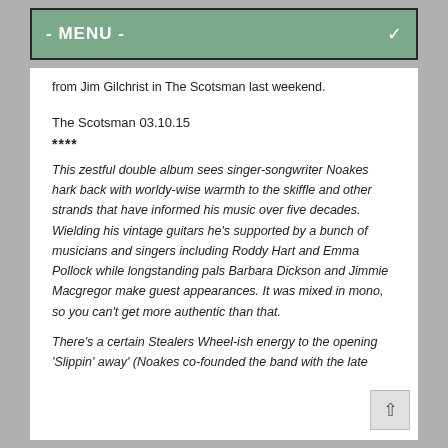- MENU -
from Jim Gilchrist in The Scotsman last weekend.
The Scotsman 03.10.15
****
This zestful double album sees singer-songwriter Noakes hark back with worldy-wise warmth to the skiffle and other strands that have informed his music over five decades. Wielding his vintage guitars he’s supported by a bunch of musicians and singers including Roddy Hart and Emma Pollock while longstanding pals Barbara Dickson and Jimmie Macgregor make guest appearances. It was mixed in mono, so you can’t get more authentic than that.
There’s a certain Stealers Wheel-ish energy to the opening ‘Slippin’ away’ (Noakes co-founded the band with the late